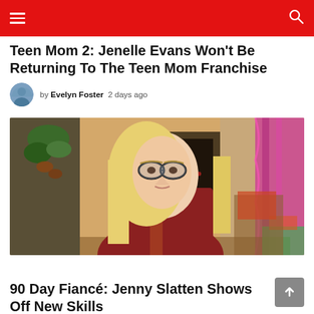Navigation bar with hamburger menu and search icon
Teen Mom 2: Jenelle Evans Won't Be Returning To The Teen Mom Franchise
by Evelyn Foster  2 days ago
[Figure (photo): A middle-aged blonde woman with glasses wearing a dark red/maroon top, seated in an interview setting with a decorated background featuring colorful curtains and plants]
REALITY TV
90 Day Fiancé: Jenny Slatten Shows Off New Skills